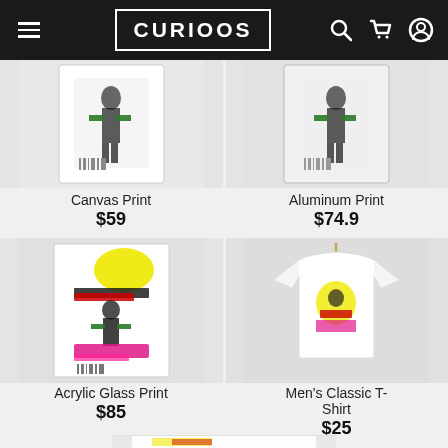CURIOOS
[Figure (photo): Canvas Print product image showing artistic graffiti-style print on canvas]
Canvas Print
$59
[Figure (photo): Aluminum Print product image showing artistic graffiti-style print on aluminum]
Aluminum Print
$74.9
[Figure (photo): Acrylic Glass Print product image showing colorful graffiti-style artwork with yellow, pink, and black design]
Acrylic Glass Print
$85
[Figure (photo): Men's Classic T-Shirt product image showing white t-shirt on hanger with graffiti-style print]
Men's Classic T-Shirt
$25
[Figure (photo): Partially visible product showing another item with graffiti-style artwork, cut off at bottom of page]